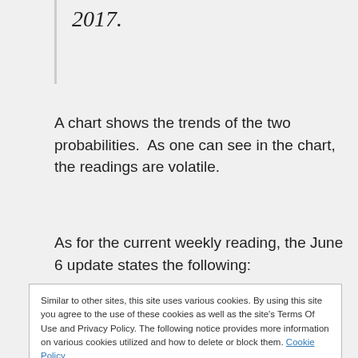2017.
A chart shows the trends of the two probabilities.  As one can see in the chart, the readings are volatile.
As for the current weekly reading, the June 6 update states the following:
Similar to other sites, this site uses various cookies. By using this site you agree to the use of these cookies as well as the site's Terms Of Use and Privacy Policy. The following notice provides more information on various cookies utilized and how to delete or block them. Cookie Policy
One measure of the probability period was 4 percent on June 5, up from 0 percent the previous week. The 2012–17 deflation probability ticked up from 0